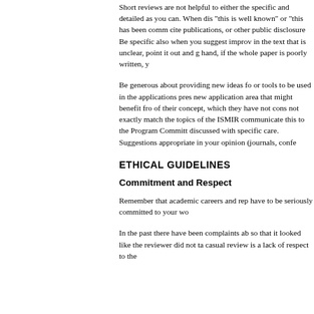Short reviews are not helpful to either the specific and detailed as you can. When dis “this is well known” or “this has been comm cite publications, or other public disclosure Be specific also when you suggest improv in the text that is unclear, point it out and g hand, if the whole paper is poorly written, y
Be generous about providing new ideas fo or tools to be used in the applications pres new application area that might benefit fro of their concept, which they have not cons not exactly match the topics of the ISMIR communicate this to the Program Committ discussed with specific care. Suggestions appropriate in your opinion (journals, confe
ETHICAL GUIDELINES
Commitment and Respect
Remember that academic careers and rep have to be seriously committed to your wo
In the past there have been complaints ab so that it looked like the reviewer did not ta casual review is a lack of respect to the